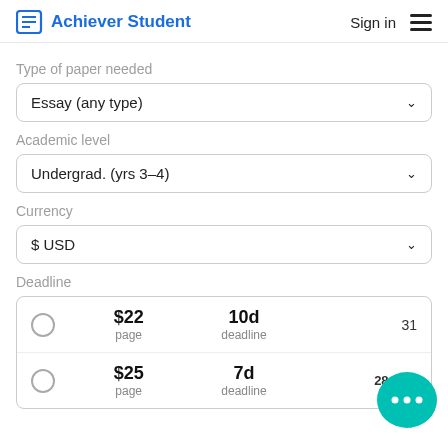Achiever Student | Sign in
Type of paper needed
Essay (any type)
Academic level
Undergrad. (yrs 3-4)
Currency
$ USD
Deadline
|  | Price | Deadline | Date |
| --- | --- | --- | --- |
| ○ | $22
page | 10d
deadline | 31 |
| ○ | $25
page | 7d
deadline | 28 Aug |